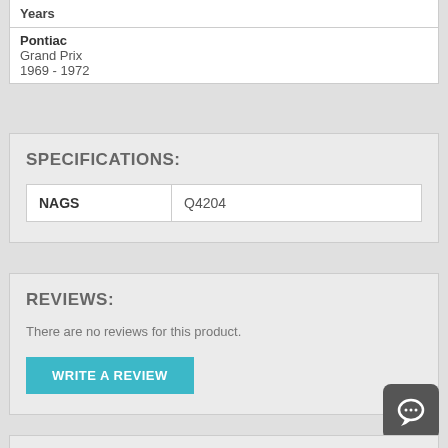| Years |
| --- |
| Pontiac | Grand Prix | 1969 - 1972 |
SPECIFICATIONS:
| NAGS | Q4204 |
| --- | --- |
REVIEWS:
There are no reviews for this product.
WRITE A REVIEW